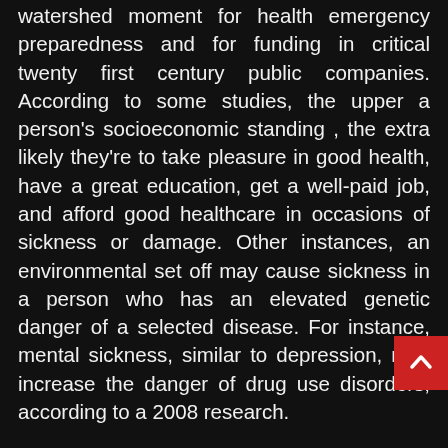watershed moment for health emergency preparedness and for funding in critical twenty first century public companies. According to some studies, the upper a person's socioeconomic standing , the extra likely they're to take pleasure in good health, have a great education, get a well-paid job, and afford good healthcare in occasions of sickness or damage. Other instances, an environmental set off may cause sickness in a person who has an elevated genetic danger of a selected disease. For instance, mental sickness, similar to depression, may increase the danger of drug use disorders, according to a 2008 research.
This is intended to guarantee that the complete population has entry to medical care on the premise of need rather than ability to pay. Delivery ma via personal medical practices or by state-owned hospitals and clinics, or by charities, mostly by a mix